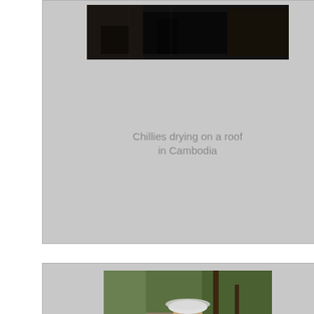[Figure (photo): Dark photo showing chillies drying on a roof in Cambodia, with dim interior scene]
Chillies drying on a roof in Cambodia
[Figure (photo): Person in floral shirt and skirt extracting sugar from pieces of sugar palm in Cambodia, outdoor market setting]
Extracting sugar from pieces of sugar palm in Cambodia
[Figure (photo): Outdoor market or village scene in Cambodia with trees and stalls]